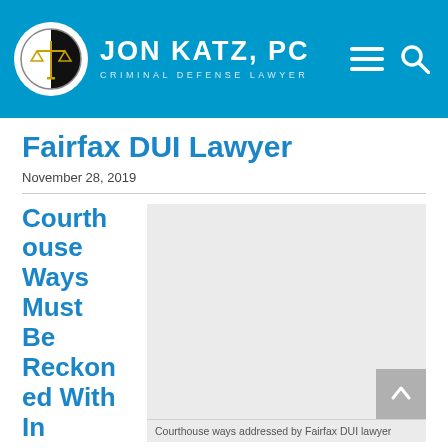JON KATZ, PC — CRIMINAL DEFENSE LAWYER
Fairfax DUI Lawyer
November 28, 2019
Courthouse Ways Must Be Reckoned With In
[Figure (photo): Gray placeholder image area representing courthouse photo]
Courthouse ways addressed by Fairfax DUI lawyer